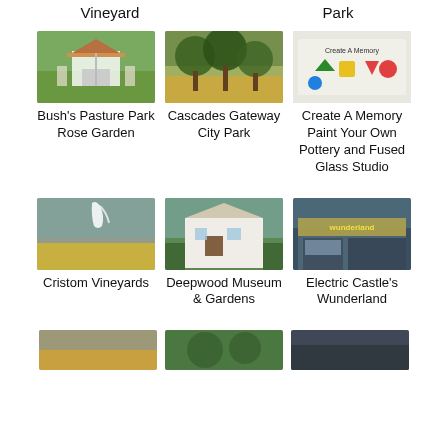Vineyard
Park
[Figure (photo): Gazebo with garden]
Bush's Pasture Park Rose Garden
[Figure (photo): Trees in a park with dry grass]
Cascades Gateway City Park
[Figure (photo): Create A Memory sign with colorful shapes]
Create A Memory Paint Your Own Pottery and Fused Glass Studio
[Figure (photo): Field with rainbow]
Cristom Vineyards
[Figure (photo): White historic house with trees]
Deepwood Museum & Gardens
[Figure (photo): Wunderland storefront]
Electric Castle's Wunderland
[Figure (photo): Partial image bottom left]
[Figure (photo): Partial image bottom center]
[Figure (photo): Partial image bottom right]